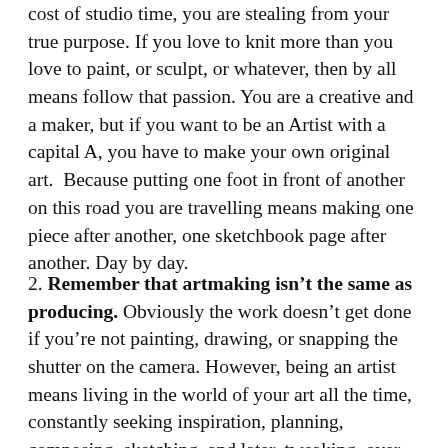cost of studio time, you are stealing from your true purpose. If you love to knit more than you love to paint, or sculpt, or whatever, then by all means follow that passion. You are a creative and a maker, but if you want to be an Artist with a capital A, you have to make your own original art.  Because putting one foot in front of another on this road you are travelling means making one piece after another, one sketchbook page after another. Day by day.
2. Remember that artmaking isn't the same as producing. Obviously the work doesn't get done if you're not painting, drawing, or snapping the shutter on the camera. However, being an artist means living in the world of your art all the time, constantly seeking inspiration, planning, composing, sketching, and later, tweaking, over-painting, proofing, editing, deleting, subtracting. I find there is a cycle to creating every piece and a large part of that is not even spent in the studio. I am constantly thinking about my paintings and